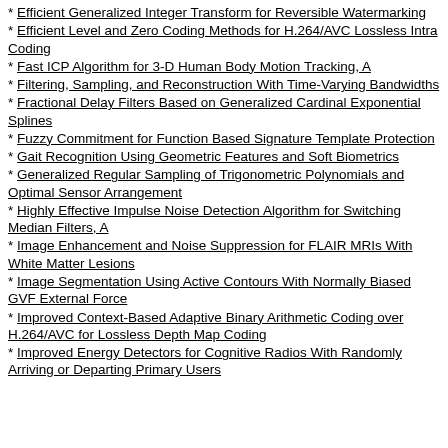* Efficient Generalized Integer Transform for Reversible Watermarking
* Efficient Level and Zero Coding Methods for H.264/AVC Lossless Intra Coding
* Fast ICP Algorithm for 3-D Human Body Motion Tracking, A
* Filtering, Sampling, and Reconstruction With Time-Varying Bandwidths
* Fractional Delay Filters Based on Generalized Cardinal Exponential Splines
* Fuzzy Commitment for Function Based Signature Template Protection
* Gait Recognition Using Geometric Features and Soft Biometrics
* Generalized Regular Sampling of Trigonometric Polynomials and Optimal Sensor Arrangement
* Highly Effective Impulse Noise Detection Algorithm for Switching Median Filters, A
* Image Enhancement and Noise Suppression for FLAIR MRIs With White Matter Lesions
* Image Segmentation Using Active Contours With Normally Biased GVF External Force
* Improved Context-Based Adaptive Binary Arithmetic Coding over H.264/AVC for Lossless Depth Map Coding
* Improved Energy Detectors for Cognitive Radios With Randomly Arriving or Departing Primary Users